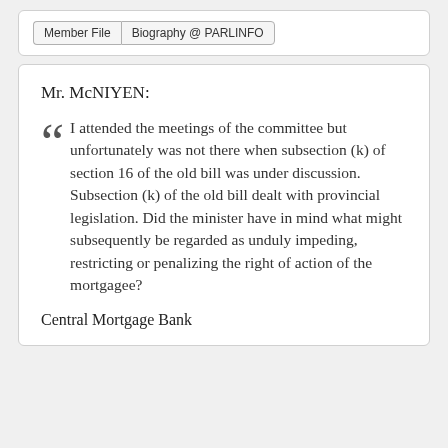Member File | Biography @ PARLINFO
Mr. McNIYEN:
I attended the meetings of the committee but unfortunately was not there when subsection (k) of section 16 of the old bill was under discussion. Subsection (k) of the old bill dealt with provincial legislation. Did the minister have in mind what might subsequently be regarded as unduly impeding, restricting or penalizing the right of action of the mortgagee?
Central Mortgage Bank